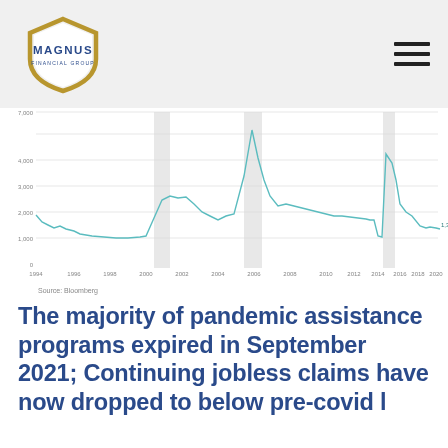Magnus Financial Group
[Figure (continuous-plot): Line chart showing continuing jobless claims from 1994 to 2022. Y-axis ranges from 0 to above 4,000 (thousands). Notable spikes around 2001-2002 recession (gray band), 2008-2009 recession (gray band), COVID-2020 spike (massive peak off-chart near 3,500+), and post-COVID decline to 1,388. Three gray shaded recession bands visible. The line ends at approximately 1,388.]
Source: Bloomberg
The majority of pandemic assistance programs expired in September 2021; Continuing jobless claims have now dropped to below pre-covid levels.